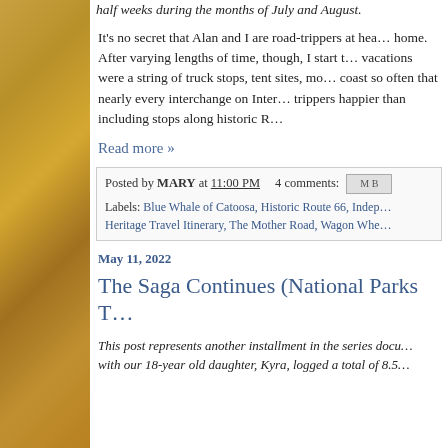half weeks during the months of July and August.
It's no secret that Alan and I are road-trippers at heart. home. After varying lengths of time, though, I start to... vacations were a string of truck stops, tent sites, mo... coast so often that nearly every interchange on Inter... trippers happier than including stops along historic R...
Read more »
Posted by MARY at 11:00 PM    4 comments:
Labels: Blue Whale of Catoosa, Historic Route 66, Indep... Heritage Travel Itinerary, The Mother Road, Wagon Whe...
May 11, 2022
The Saga Continues (National Parks T...
This post represents another installment in the series docu... with our 18-year old daughter, Kyra, logged a total of 8.5...